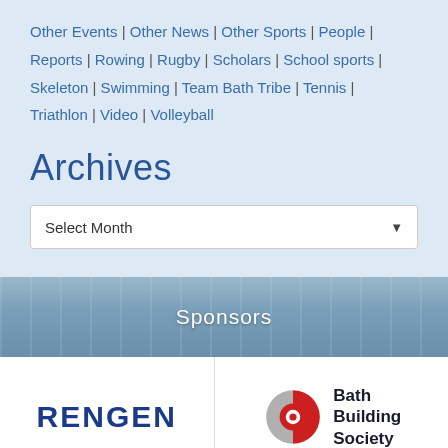Other Events | Other News | Other Sports | People | Reports | Rowing | Rugby | Scholars | School sports | Skeleton | Swimming | Team Bath Tribe | Tennis | Triathlon | Video | Volleyball
Archives
Select Month
Sponsors
[Figure (logo): RENGEN logo in dark blue bold text]
[Figure (logo): Bath Building Society logo with red and grey circular icon and text]